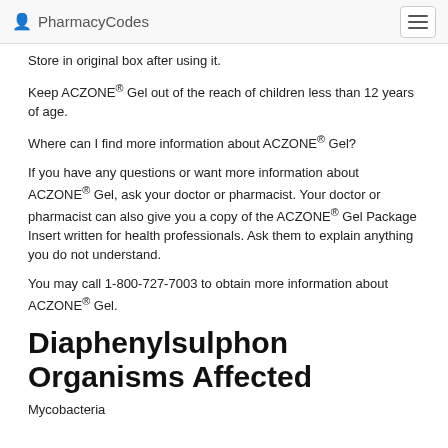PharmacyCodes
Store in original box after using it.
Keep ACZONE® Gel out of the reach of children less than 12 years of age.
Where can I find more information about ACZONE® Gel?
If you have any questions or want more information about ACZONE® Gel, ask your doctor or pharmacist. Your doctor or pharmacist can also give you a copy of the ACZONE® Gel Package Insert written for health professionals. Ask them to explain anything you do not understand.
You may call 1-800-727-7003 to obtain more information about ACZONE® Gel.
Diaphenylsulphon Organisms Affected
Mycobacteria